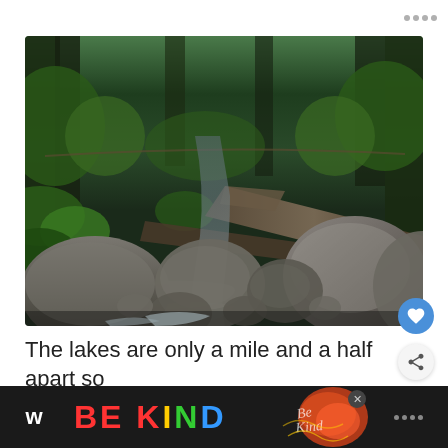[Figure (photo): Forest stream with large rocks and boulders in the foreground, a small waterfall, fallen logs, and dense green forest with tall conifers in the background. A rope or wire bridge is visible in the upper portion.]
The lakes are only a mile and a half apart so you can technically visit both before deciding w
[Figure (other): Advertisement banner reading 'BE KIND' in colorful letters on a dark background, with a decorative floral/script element on the right side and a close (x) button.]